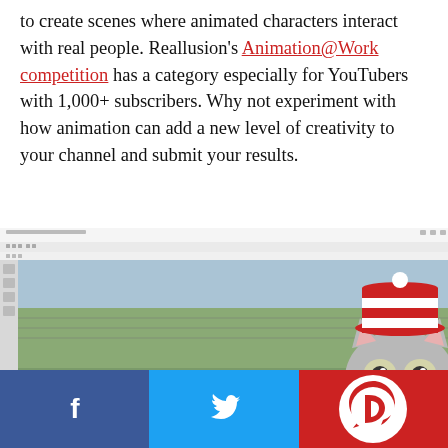to create scenes where animated characters interact with real people. Reallusion's Animation@Work competition has a category especially for YouTubers with 1,000+ subscribers. Why not experiment with how animation can add a new level of creativity to your channel and submit your results.
[Figure (screenshot): Screenshot of CrazyTalk Animator software showing an animated cartoon cat character with a red and white hat placed in a real outdoor scene with a chain-link fence, overlaid with software UI panels and timeline.]
[Figure (logo): Social sharing footer with Facebook icon (blue), Twitter bird icon (light blue), and a red circular logo on the right.]